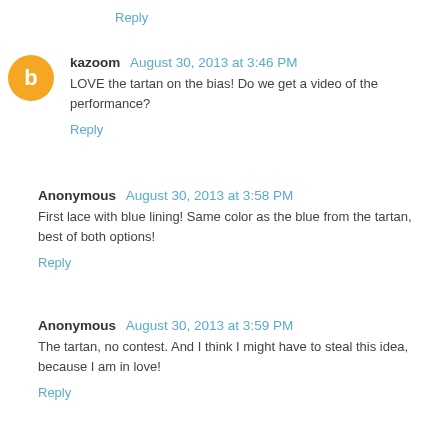Reply
kazoom  August 30, 2013 at 3:46 PM
LOVE the tartan on the bias! Do we get a video of the performance?
Reply
Anonymous  August 30, 2013 at 3:58 PM
First lace with blue lining! Same color as the blue from the tartan, best of both options!
Reply
Anonymous  August 30, 2013 at 3:59 PM
The tartan, no contest. And I think I might have to steal this idea, because I am in love!
Reply